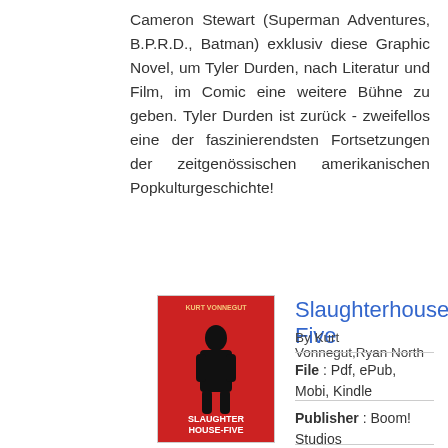Cameron Stewart (Superman Adventures, B.P.R.D., Batman) exklusiv diese Graphic Novel, um Tyler Durden, nach Literatur und Film, im Comic eine weitere Bühne zu geben. Tyler Durden ist zurück - zweifellos eine der faszinierendsten Fortsetzungen der zeitgenössischen amerikanischen Popkulturgeschichte!
Slaughterhouse-Five
By Kurt Vonnegut,Ryan North
File : Pdf, ePub, Mobi, Kindle
Publisher : Boom! Studios
[Figure (illustration): Book cover of Slaughterhouse-Five with red background and figure silhouette]
[Figure (other): Green READ PDF button]